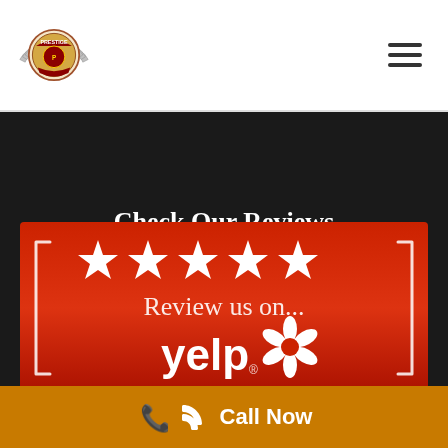[Figure (logo): Prestige company logo — circular badge with wings and 'Prestige' text]
[Figure (other): Hamburger menu icon — three horizontal lines]
Check Our Reviews
[Figure (other): Red banner with five white stars and text 'Review us on... yelp!' with Yelp logo]
[Figure (other): Partial Google review strip at bottom with blue circle avatar visible]
Call Now